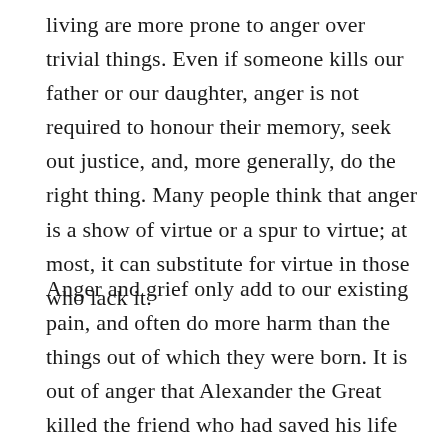living are more prone to anger over trivial things. Even if someone kills our father or our daughter, anger is not required to honour their memory, seek out justice, and, more generally, do the right thing. Many people think that anger is a show of virtue or a spur to virtue; at most, it can substitute for virtue in those who lack it.
Anger and grief only add to our existing pain, and often do more harm than the things out of which they were born. It is out of anger that Alexander the Great killed the friend who had saved his life—that great conqueror of kings,